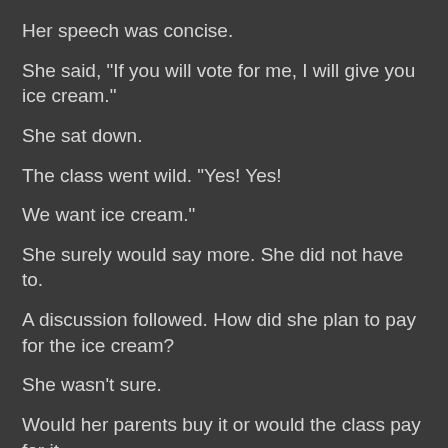Her speech was concise.
She said, "If you will vote for me, I will give you ice cream."
She sat down.
The class went wild. "Yes! Yes!
We want ice cream."
She surely would say more. She did not have to.
A discussion followed. How did she plan to pay for the ice cream?
She wasn't sure.
Would her parents buy it or would the class pay for it.
She didn't know.
The class really didn't care.